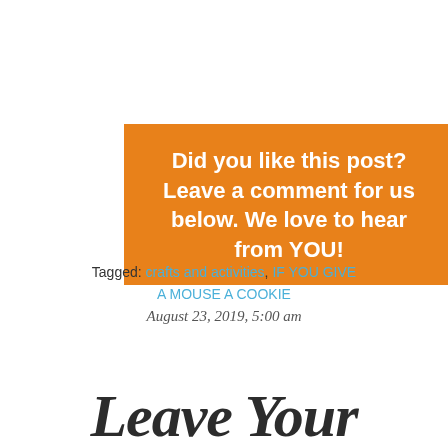[Figure (other): Orange banner with bold white text: Did you like this post? Leave a comment for us below. We love to hear from YOU!]
Tagged: crafts and activities, IF YOU GIVE A MOUSE A COOKIE
August 23, 2019, 5:00 am
Leave Your